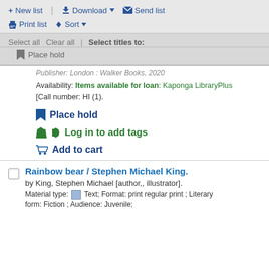+ New list | Download ▼ ✉ Send list | Print list ⬆ Sort ▼
Select all  Clear all  |  Select titles to:
Place hold
Publisher: London : Walker Books, 2020
Availability: Items available for loan: Kaponga LibraryPlus [Call number: HI (1).
Place hold
Log in to add tags
Add to cart
Rainbow bear / Stephen Michael King.
by King, Stephen Michael [author,, illustrator].
Material type: Text; Format: print regular print ; Literary form: Fiction ; Audience: Juvenile;